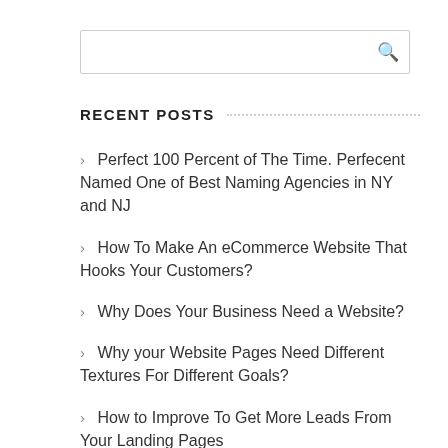[Figure (other): Search input box with magnifying glass icon]
RECENT POSTS
Perfect 100 Percent of The Time. Perfecent Named One of Best Naming Agencies in NY and NJ
How To Make An eCommerce Website That Hooks Your Customers?
Why Does Your Business Need a Website?
Why your Website Pages Need Different Textures For Different Goals?
How to Improve To Get More Leads From Your Landing Pages